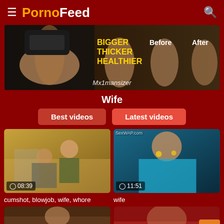≡ PornoFeed 🔍
[Figure (photo): Advertisement banner showing male enhancement product 'Mx1mansizer' with text BIGGER THICKER HEALTHIER and Before/After labels]
Wife
Best videos
Latest videos
[Figure (photo): Video thumbnail showing duration 08:39]
[Figure (photo): Video thumbnail showing duration 11:51]
cumshot, blowjob, wife, whore
wife
[Figure (photo): Video thumbnail bottom left]
[Figure (photo): Video thumbnail bottom right]